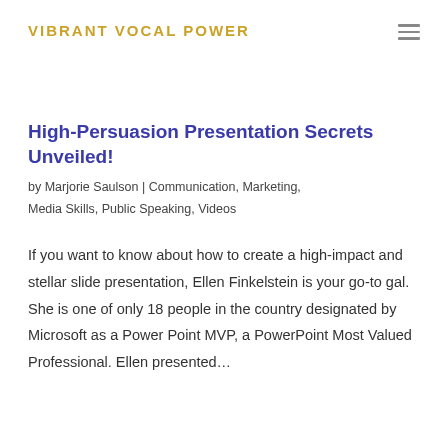VIBRANT VOCAL POWER
High-Persuasion Presentation Secrets Unveiled!
by Marjorie Saulson | Communication, Marketing, Media Skills, Public Speaking, Videos
If you want to know about how to create a high-impact and stellar slide presentation, Ellen Finkelstein is your go-to gal. She is one of only 18 people in the country designated by Microsoft as a Power Point MVP, a PowerPoint Most Valued Professional. Ellen presented…